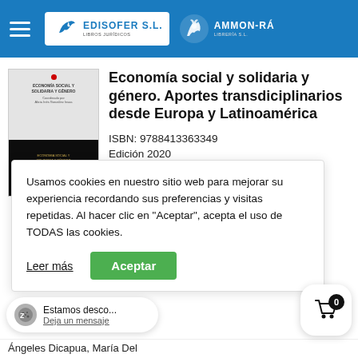EDISOFER S.L. LIBROS JURÍDICOS | AMMON-RÁ LIBRERÍA S.L.
[Figure (photo): Book cover of Economía social y solidaria y género]
Economía social y solidaria y género. Aportes transdiciplinarios desde Europa y Latinoamérica
ISBN: 9788413363349
Usamos cookies en nuestro sitio web para mejorar su experiencia recordando sus preferencias y visitas repetidas. Al hacer clic en "Aceptar", acepta el uso de TODAS las cookies.
Leer más
Aceptar
Calderón
Fajardo
chinelli
za De
stida
a De Los
Ángeles Dicapua, María Del
Estamos desco...
Deja un mensaje